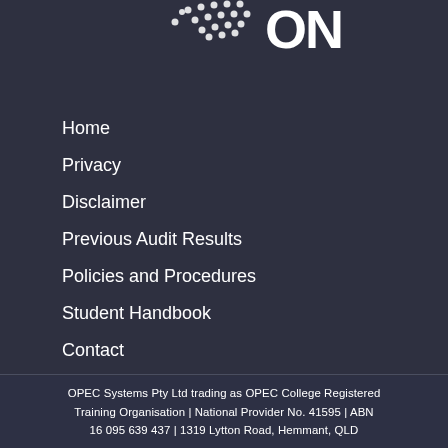[Figure (logo): OPEC College logo with dot pattern and text, partial view at top of page]
Home
Privacy
Disclaimer
Previous Audit Results
Policies and Procedures
Student Handbook
Contact
OPEC Systems Pty Ltd trading as OPEC College Registered Training Organisation | National Provider No. 41595 | ABN 16 095 639 437 | 1319 Lytton Road, Hemmant, QLD